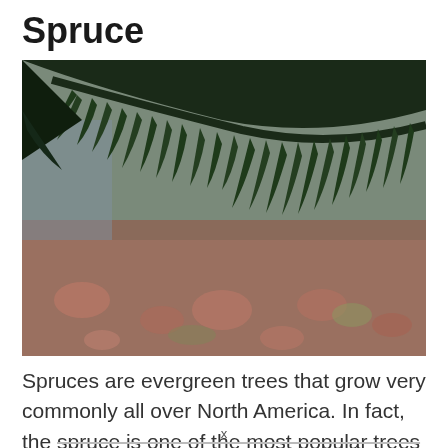Spruce
[Figure (photo): Close-up photograph of dark green spruce tree branches hanging down with blurred reddish-brown ground cover in the background]
Spruces are evergreen trees that grow very commonly all over North America. In fact, the spruce is one of the most popular trees across the
x